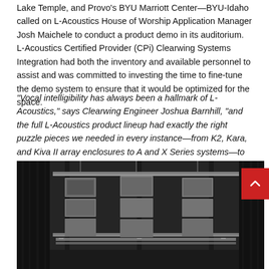Lake Temple, and Provo's BYU Marriott Center—BYU-Idaho called on L-Acoustics House of Worship Application Manager Josh Maichele to conduct a product demo in its auditorium. L-Acoustics Certified Provider (CPi) Clearwing Systems Integration had both the inventory and available personnel to assist and was committed to investing the time to fine-tune the demo system to ensure that it would be optimized for the space.
“Vocal intelligibility has always been a hallmark of L-Acoustics,” says Clearwing Engineer Joshua Barnhill, “and the full L-Acoustics product lineup had exactly the right puzzle pieces we needed in every instance—from K2, Kara, and Kiva II array enclosures to A and X Series systems—to make this space sound and feel fantastic.”
[Figure (photo): Dark stage scene showing large line-array speaker enclosures (L-Acoustics boxes) rigged on metal trussing against dark curtains/drapes in the background.]